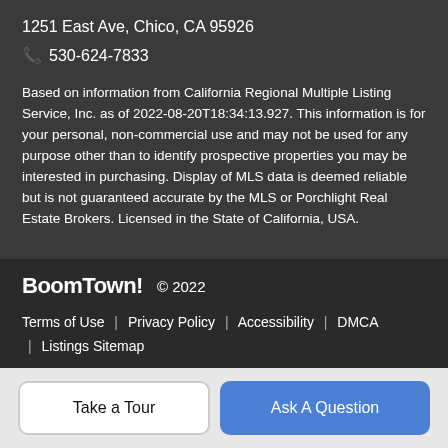1251 East Ave, Chico, CA 95926
📞 530-624-7833
Based on information from California Regional Multiple Listing Service, Inc. as of 2022-08-20T18:34:13.927. This information is for your personal, non-commercial use and may not be used for any purpose other than to identify prospective properties you may be interested in purchasing. Display of MLS data is deemed reliable but is not guaranteed accurate by the MLS or Porchlight Real Estate Brokers. Licensed in the State of California, USA.
BoomTown! © 2022 | Terms of Use | Privacy Policy | Accessibility | DMCA | Listings Sitemap
Take a Tour
Ask A Question